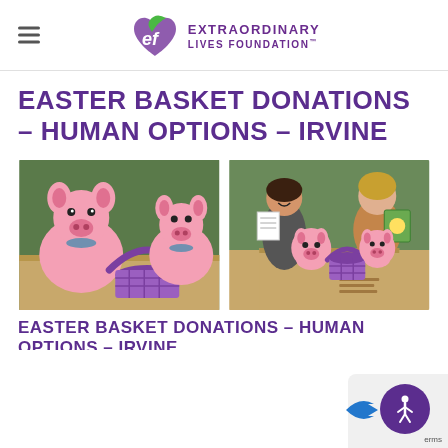Extraordinary Lives Foundation
EASTER BASKET DONATIONS – HUMAN OPTIONS – IRVINE
[Figure (photo): Two pink pig stuffed animals and a purple Easter basket on a cardboard box outdoors]
[Figure (photo): Two women holding coloring pages and a children's book posing behind pink pig stuffed animals and a purple Easter basket on a cardboard box outdoors]
EASTER BASKET DONATIONS – HUMAN OPTIONS – IRVINE